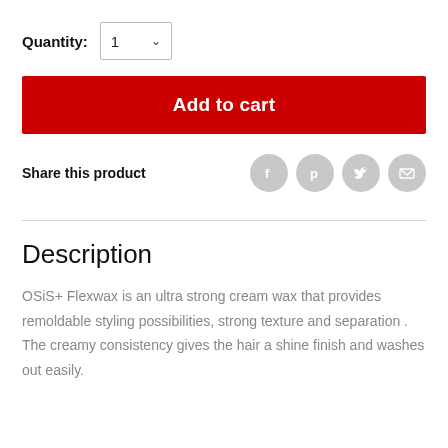Quantity: 1
Add to cart
Share this product
Description
OSiS+ Flexwax is an ultra strong cream wax that provides remoldable styling possibilities, strong texture and separation . The creamy consistency gives the hair a shine finish and washes out easily.